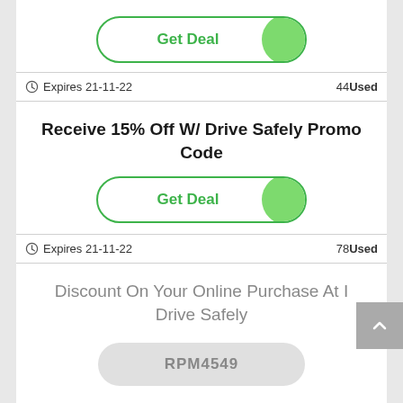[Figure (other): Get Deal toggle button with green border and green circle on right]
Expires 21-11-22   44Used
Receive 15% Off W/ Drive Safely Promo Code
[Figure (other): Get Deal toggle button with green border and green circle on right]
Expires 21-11-22   78Used
Discount On Your Online Purchase At I Drive Safely
RPM4549